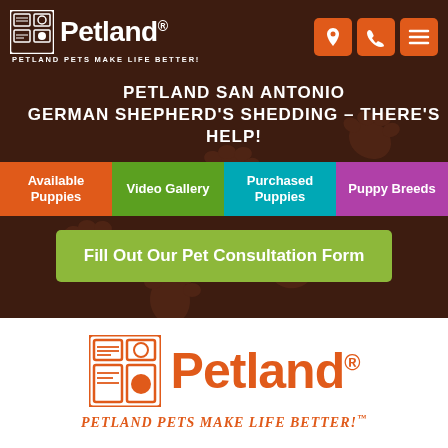[Figure (logo): Petland logo with icon in white on dark brown header bar]
[Figure (other): Navigation icons: location pin, phone, hamburger menu in orange rounded square buttons]
PETLAND SAN ANTONIO GERMAN SHEPHERD'S SHEDDING – THERE'S HELP!
Available Puppies
Video Gallery
Purchased Puppies
Puppy Breeds
[Figure (other): Dark brown background with lighter brown paw print pattern]
Fill Out Our Pet Consultation Form
[Figure (logo): Petland logo large orange on white background with tagline PETLAND PETS MAKE LIFE BETTER!]